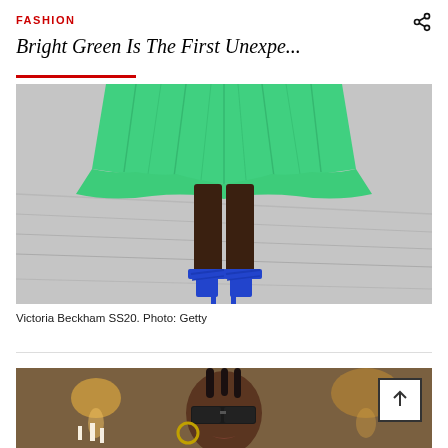FASHION
Bright Green Is The First Unexpe...
[Figure (photo): Close-up of a model's lower body on a runway wearing a bright green pleated midi skirt and blue strappy high-heel sandals on a grey marbled floor. Victoria Beckham SS20.]
Victoria Beckham SS20. Photo: Getty
[Figure (photo): A model wearing dark rectangular sunglasses and large hoop earrings with braided hair, photographed in a warmly lit interior setting with candles visible in the background.]